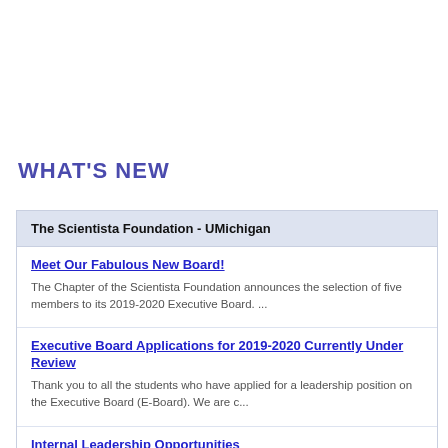WHAT'S NEW
The Scientista Foundation - UMichigan
Meet Our Fabulous New Board!
The Chapter of the Scientista Foundation announces the selection of five members to its 2019-2020 Executive Board. ...
Executive Board Applications for 2019-2020 Currently Under Review
Thank you to all the students who have applied for a leadership position on the Executive Board (E-Board). We are c...
Internal Leadership Opportunities